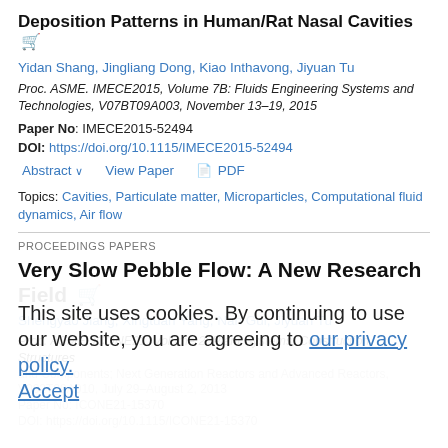Deposition Patterns in Human/Rat Nasal Cavities
Yidan Shang, Jingliang Dong, Kiao Inthavong, Jiyuan Tu
Proc. ASME. IMECE2015, Volume 7B: Fluids Engineering Systems and Technologies, V07BT09A003, November 13–19, 2015
Paper No: IMECE2015-52494
DOI: https://doi.org/10.1115/IMECE2015-52494
Abstract  View Paper  PDF
Topics: Cavities, Particulate matter, Microparticles, Computational fluid dynamics, Air flow
PROCEEDINGS PAPERS
Very Slow Pebble Flow: A New Research Field
Shengyao Jiang, Xingtuan Yang, Nan Gui, Jiyuan Tu
Proc. ASME. ICONE21, Volume 2: Plant Systems, Construction, Structures and Components; Next Generation Reactors and Advanced Reactors, V002T09A010, July 29–August 2, 2013
Paper No: ICONE21-15370
DOI: https://doi.org/10.1115/ICONE21-15370
This site uses cookies. By continuing to use our website, you are agreeing to our privacy policy. Accept